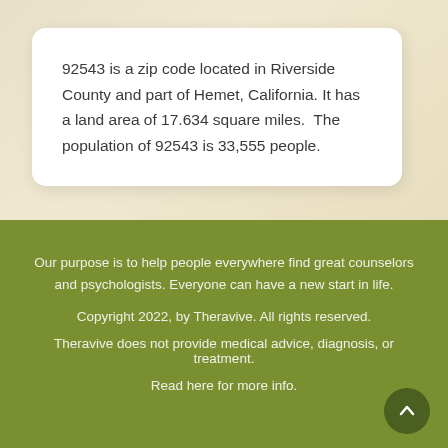92543 is a zip code located in Riverside County and part of Hemet, California. It has a land area of 17.634 square miles.  The population of 92543 is 33,555 people.
Our purpose is to help people everywhere find great counselors and psychologists. Everyone can have a new start in life.
Copyright 2022, by Theravive. All rights reserved.
Theravive does not provide medical advice, diagnosis, or treatment.
Read here for more info.